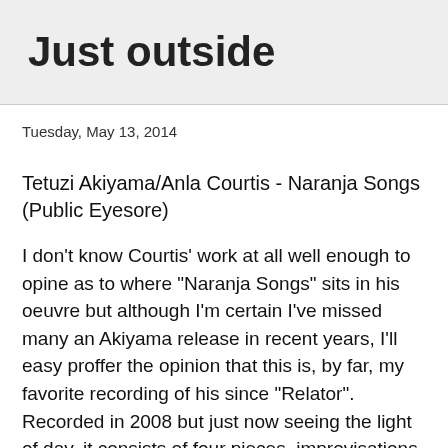Just outside
Tuesday, May 13, 2014
Tetuzi Akiyama/Anla Courtis - Naranja Songs (Public Eyesore)
I don't know Courtis' work at all well enough to opine as to where "Naranja Songs" sits in his oeuvre but although I'm certain I've missed many an Akiyama release in recent years, I'll easy proffer the opinion that this is, by far, my favorite recording of his since "Relator". Recorded in 2008 but just now seeing the light of day, it consists of four pieces, improvisations on a pair of acoustic guitars that might be described as "pastoral" but that's far too banal and, really, inaccurate as, crucially, there's always an underlying sense